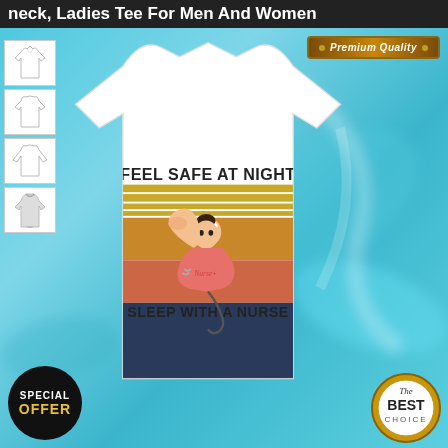neck, Ladies Tee For Men And Women
[Figure (photo): E-commerce product page showing a white V-neck t-shirt with 'Feel Safe At Night Sleep With A Nurse' vintage graphic design featuring a strong nurse woman. Left side shows 4 style thumbnails (v-neck, regular tee, long sleeve, hoodie). Top right has Premium Quality badge. Bottom left has Special Offer badge. Bottom right has The Best Choice seal. Background is aqua/teal marble swirl.]